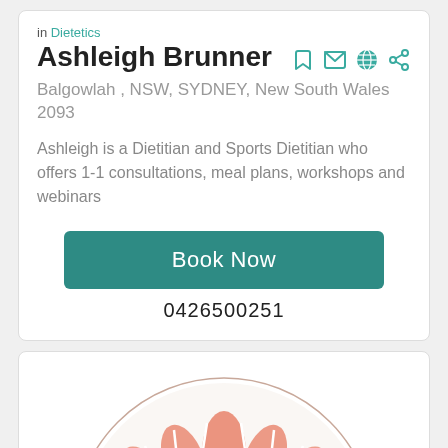in Dietetics
Ashleigh Brunner
Balgowlah , NSW, SYDNEY, New South Wales 2093
Ashleigh is a Dietitian and Sports Dietitian who offers 1-1 consultations, meal plans, workshops and webinars
Book Now
0426500251
[Figure (illustration): Partial view of a lotus flower illustration with pink/salmon colored petals on a light circular background, bottom portion visible]